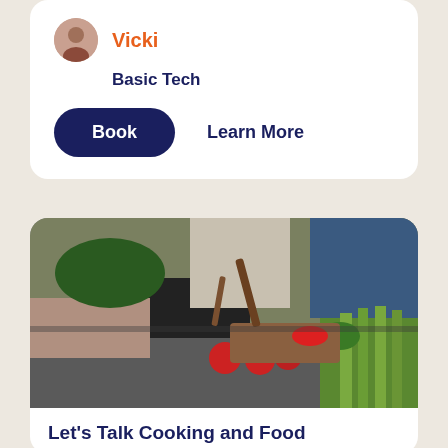Vicki
Basic Tech
Book
Learn More
[Figure (photo): People cooking together in a kitchen, with vegetables including tomatoes and green onions on the counter, and someone stirring a pan]
Let's Talk Cooking and Food